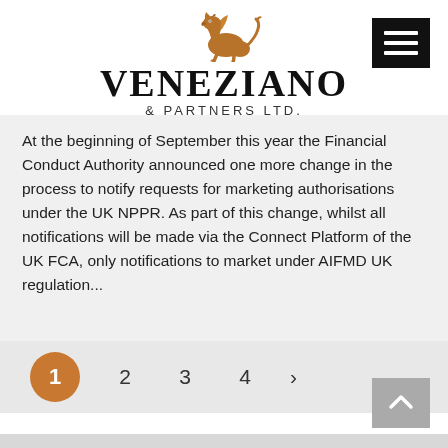[Figure (logo): Veneziano & Partners Ltd. logo with golden griffin and serif company name]
At the beginning of September this year the Financial Conduct Authority announced one more change in the process to notify requests for marketing authorisations under the UK NPPR. As part of this change, whilst all notifications will be made via the Connect Platform of the UK FCA, only notifications to market under AIFMD UK regulation...
1
2
3
4
>